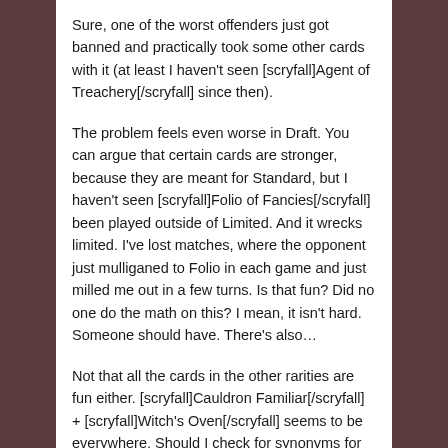Sure, one of the worst offenders just got banned and practically took some other cards with it (at least I haven't seen [scryfall]Agent of Treachery[/scryfall] since then).
The problem feels even worse in Draft. You can argue that certain cards are stronger, because they are meant for Standard, but I haven't seen [scryfall]Folio of Fancies[/scryfall] been played outside of Limited. And it wrecks limited. I've lost matches, where the opponent just mulliganed to Folio in each game and just milled me out in a few turns. Is that fun? Did no one do the math on this? I mean, it isn't hard. Someone should have. There's also…
Not that all the cards in the other rarities are fun either. [scryfall]Cauldron Familiar[/scryfall] + [scryfall]Witch's Oven[/scryfall] seems to be everywhere. Should I check for synonyms for frustrating, or can I just keep on repeating it?
And the games take forever. Not in the good since, like